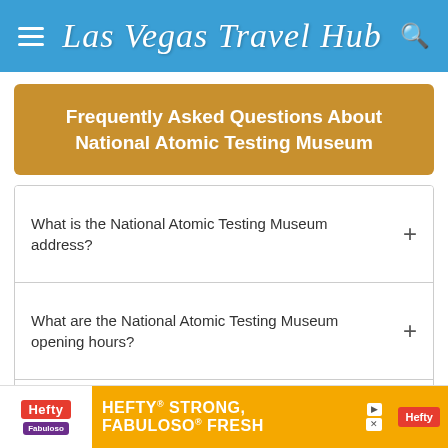Las Vegas Travel Hub
Frequently Asked Questions About National Atomic Testing Museum
What is the National Atomic Testing Museum address?
What are the National Atomic Testing Museum opening hours?
What are the National Atomic Testing Museum entry prices?
What is the National Atomic Testing
[Figure (other): Hefty brand advertisement banner: HEFTY STRONG, FABULOSO FRESH]